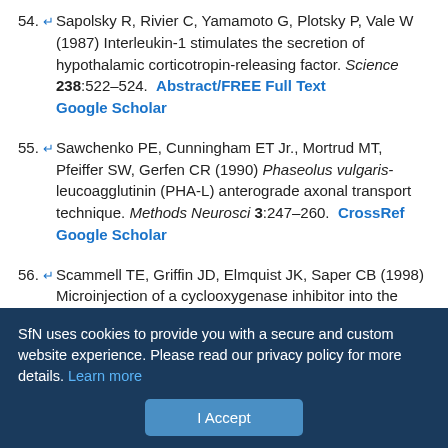54. Sapolsky R, Rivier C, Yamamoto G, Plotsky P, Vale W (1987) Interleukin-1 stimulates the secretion of hypothalamic corticotropin-releasing factor. Science 238:522–524. Abstract/FREE Full Text Google Scholar
55. Sawchenko PE, Cunningham ET Jr., Mortrud MT, Pfeiffer SW, Gerfen CR (1990) Phaseolus vulgaris-leucoagglutinin (PHA-L) anterograde axonal transport technique. Methods Neurosci 3:247–260. CrossRef Google Scholar
56. Scammell TE, Griffin JD, Elmquist JK, Saper CB (1998) Microinjection of a cyclooxygenase inhibitor into the anteroventral preoptic region attenuates LPS fever. Am J Physiol 274:R783–R789. PubMed Google Scholar
57. Schiltz J, Sawchenko P (2000) Differential recruitment of vascular-associated cell types to interleukin-1 versus endotoxin. Soc Neurosci
SfN uses cookies to provide you with a secure and custom website experience. Please read our privacy policy for more details. Learn more